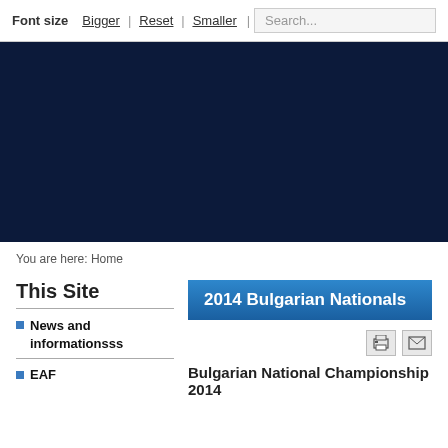Font size  Bigger | Reset | Smaller   Search...
[Figure (other): Dark navy blue banner/hero image area]
You are here: Home
This Site
2014 Bulgarian Nationals
News and informationsss
EAF
Bulgarian National Championship 2014